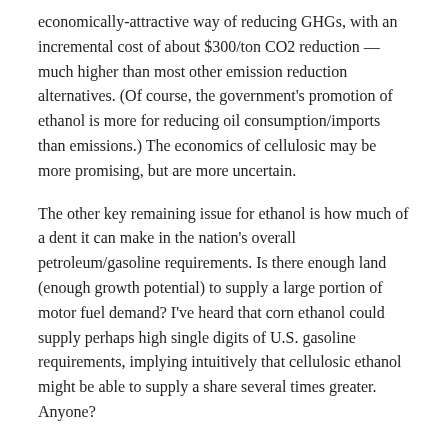economically-attractive way of reducing GHGs, with an incremental cost of about $300/ton CO2 reduction — much higher than most other emission reduction alternatives. (Of course, the government's promotion of ethanol is more for reducing oil consumption/imports than emissions.) The economics of cellulosic may be more promising, but are more uncertain.
The other key remaining issue for ethanol is how much of a dent it can make in the nation's overall petroleum/gasoline requirements. Is there enough land (enough growth potential) to supply a large portion of motor fuel demand? I've heard that corn ethanol could supply perhaps high single digits of U.S. gasoline requirements, implying intuitively that cellulosic ethanol might be able to supply a share several times greater. Anyone?
Content provided by and all rights reserved to CleantechBlog.com. Also check out http://www.cleantech.org
Tags: alternative energy, cleantech, Cleantech Blog, energy, greentech